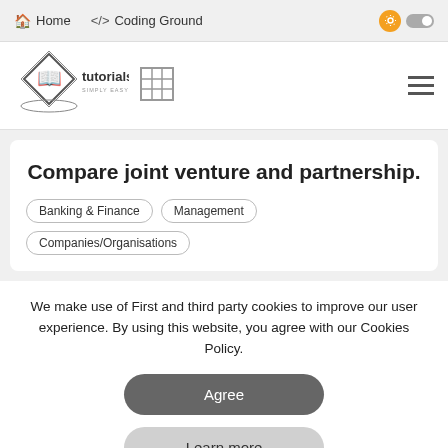Home   </> Coding Ground
[Figure (logo): Tutorialspoint logo with diamond shape and book icon, text: tutorialspoint SIMPLY EASY LEARNING]
Compare joint venture and partnership.
Banking & Finance
Management
Companies/Organisations
We make use of First and third party cookies to improve our user experience. By using this website, you agree with our Cookies Policy.
Agree
Learn more